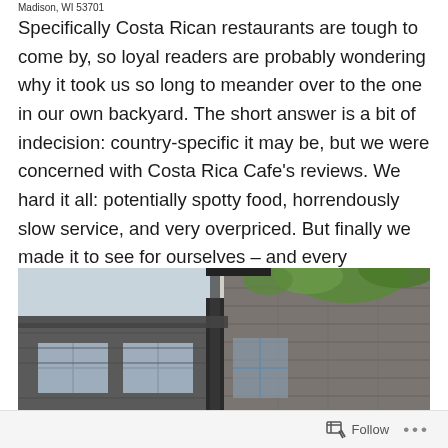Madison, WI 53701
Specifically Costa Rican restaurants are tough to come by, so loyal readers are probably wondering why it took us so long to meander over to the one in our own backyard. The short answer is a bit of indecision: country-specific it may be, but we were concerned with Costa Rica Cafe's reviews. We hard it all: potentially spotty food, horrendously slow service, and very overpriced. But finally we made it to see for ourselves – and every complaint we heard turned out to be wrong.
[Figure (photo): Exterior photograph of a brick building with dark-painted brick walls, large windows, and green foliage visible at the top. The image shows the corner of the building from a low angle looking up.]
Follow ...